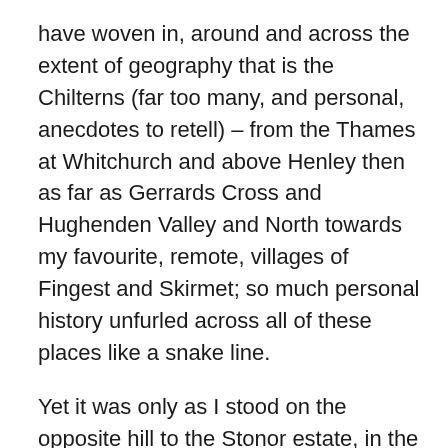have woven in, around and across the extent of geography that is the Chilterns (far too many, and personal, anecdotes to retell) – from the Thames at Whitchurch and above Henley then as far as Gerrards Cross and Hughenden Valley and North towards my favourite, remote, villages of Fingest and Skirmet; so much personal history unfurled across all of these places like a snake line.
Yet it was only as I stood on the opposite hill to the Stonor estate, in the December sunshine, and gazed down at the familiar house, nestled picturesquely into its green hillsides in what must be the most blessed spot to reside in that I can imagine, that I was jolted into recalling it has its own ancient stone circle (hence the original name 'Stonora', one presumes); just a small one, almost a folly